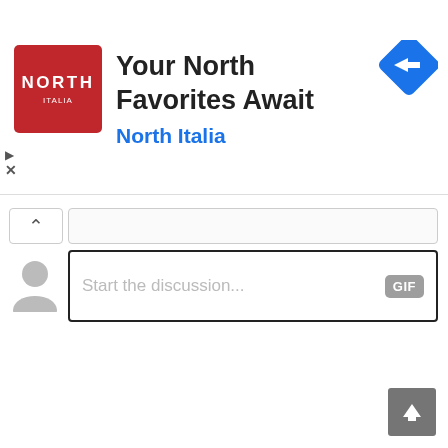[Figure (screenshot): Advertisement banner for North Italia restaurant. Red square logo with 'NORTH' and 'ITALIA' text. Ad headline: 'Your North Favorites Await', subline: 'North Italia'. Blue diamond directions icon top right. Play and close (X) controls bottom left.]
[Figure (screenshot): Comment section UI with sort/collapse button (caret up), anonymous user avatar, an empty text input field at top, and a large comment input box with placeholder text 'Start the discussion...' and a GIF button on the right.]
[Figure (screenshot): Scroll-to-top button in bottom right corner, grey square with white upward arrow icon.]